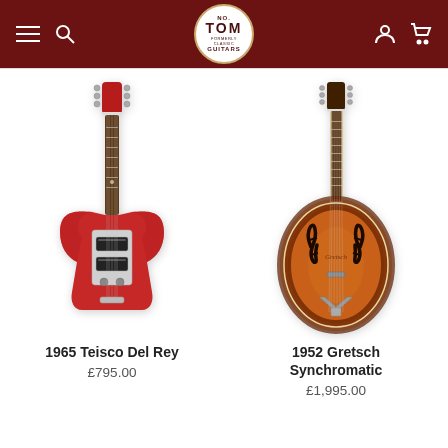NO.TOM Guitars — navigation header with hamburger menu, search, logo, user and cart icons
[Figure (photo): 1965 Teisco Del Rey red electric guitar with double cutaway body, chrome pickguard, two pickups, tremolo bridge]
1965 Teisco Del Rey
£795.00
[Figure (photo): 1952 Gretsch Synchromatic archtop acoustic guitar with sunburst finish, f-holes, and Synchromatic trapeze tailpiece]
1952 Gretsch Synchromatic
£1,995.00